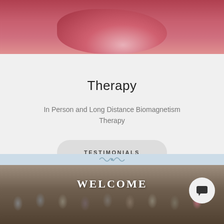[Figure (photo): Cropped photo showing a dental or anatomical model, blurry, pinkish-red tones at top of page]
Therapy
In Person and Long Distance Biomagnetism Therapy
[Figure (illustration): Button labeled TESTIMONIALS with rounded rectangle style]
[Figure (photo): Group photo of many people in a conference hall with WELCOME text overlay and a chat icon button]